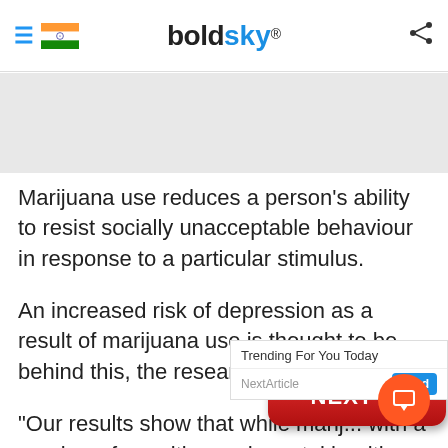boldsky
[Figure (screenshot): Gray advertisement placeholder area]
Marijuana use reduces a person's ability to resist socially unacceptable behaviour in response to a particular stimulus.
An increased risk of depression as a result of marijuana use is thought to be behind this, the researchers said.
"Our results show that while marij... with a number of cognitive and mental health